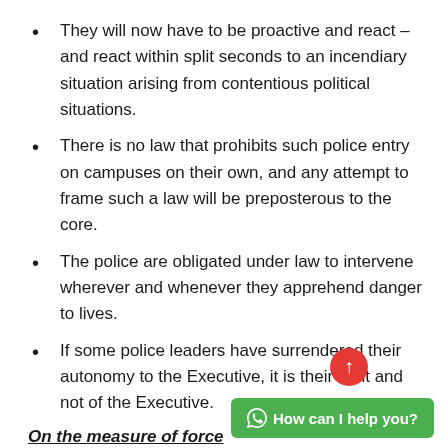They will now have to be proactive and react – and react within split seconds to an incendiary situation arising from contentious political situations.
There is no law that prohibits such police entry on campuses on their own, and any attempt to frame such a law will be preposterous to the core.
The police are obligated under law to intervene wherever and whenever they apprehend danger to lives.
If some police leaders have surrendered their autonomy to the Executive, it is their fault and not of the Executive.
On the measure of force